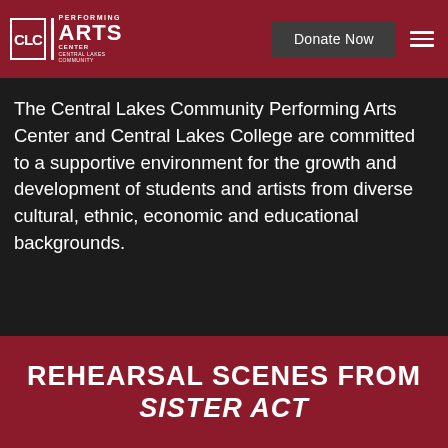[Figure (logo): CLC Performing Arts Center logo with red background, white text showing CLC and PERFORMING ARTS CENTER]
Donate Now
The Central Lakes Community Performing Arts Center and Central Lakes College are committed to a supportive environment for the growth and development of students and artists from diverse cultural, ethnic, economic and educational backgrounds.
REHEARSAL SCENES FROM SISTER ACT